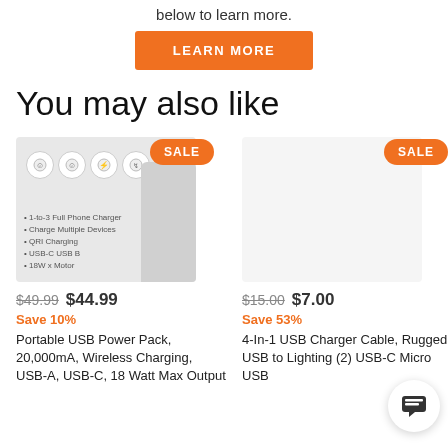below to learn more.
LEARN MORE
You may also like
[Figure (photo): Portable USB Power Pack product image with sale badge]
$49.99  $44.99
Save 10%
Portable USB Power Pack, 20,000mA, Wireless Charging, USB-A, USB-C, 18 Watt Max Output
[Figure (photo): 4-In-1 USB Charger Cable product image with sale badge]
$15.00  $7.00
Save 53%
4-In-1 USB Charger Cable, Rugged USB to Lighting (2) USB-C Micro USB
from $249.
Pepwave M Adapter U Exp CA